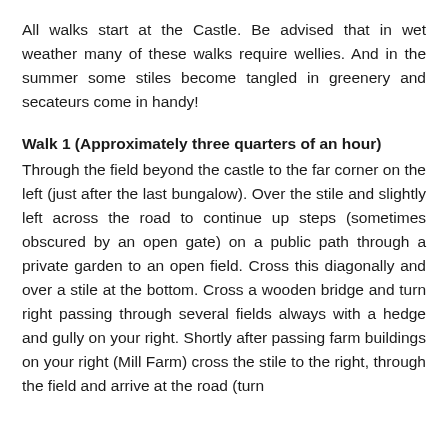All walks start at the Castle. Be advised that in wet weather many of these walks require wellies. And in the summer some stiles become tangled in greenery and secateurs come in handy!
Walk 1 (Approximately three quarters of an hour)
Through the field beyond the castle to the far corner on the left (just after the last bungalow). Over the stile and slightly left across the road to continue up steps (sometimes obscured by an open gate) on a public path through a private garden to an open field. Cross this diagonally and over a stile at the bottom. Cross a wooden bridge and turn right passing through several fields always with a hedge and gully on your right. Shortly after passing farm buildings on your right (Mill Farm) cross the stile to the right, through the field and arrive at the road (turn